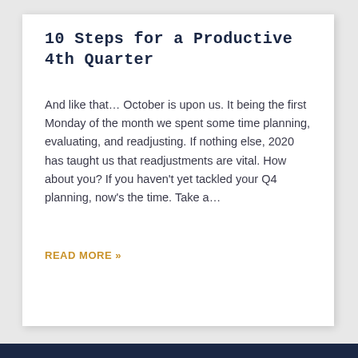10 Steps for a Productive 4th Quarter
And like that… October is upon us. It being the first Monday of the month we spent some time planning, evaluating, and readjusting. If nothing else, 2020 has taught us that readjustments are vital. How about you? If you haven't yet tackled your Q4 planning, now's the time. Take a…
READ MORE »